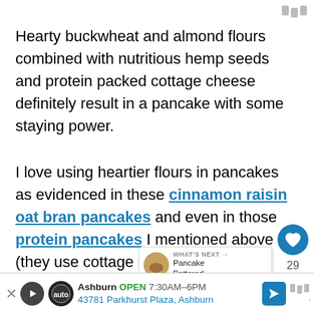Hearty buckwheat and almond flours combined with nutritious hemp seeds and protein packed cottage cheese definitely result in a pancake with some staying power.
I love using heartier flours in pancakes as evidenced in these cinnamon raisin oat bran pancakes and even in those protein pancakes I mentioned above (they use cottage cheese too!). It's sometimes hard for me to feel full from a pancake breakfast, but heartier flours (and a higher protein content)
[Figure (screenshot): UI overlay showing heart/like button (teal circle with heart icon), count '29', share button, and 'WHAT'S NEXT' card showing 'Pancake Battered...' with a thumbnail image]
[Figure (infographic): Advertisement bar at bottom: The Auto logo, 'Ashburn OPEN 7:30AM-6PM 43781 Parkhurst Plaza, Ashburn' with a blue navigation arrow icon]